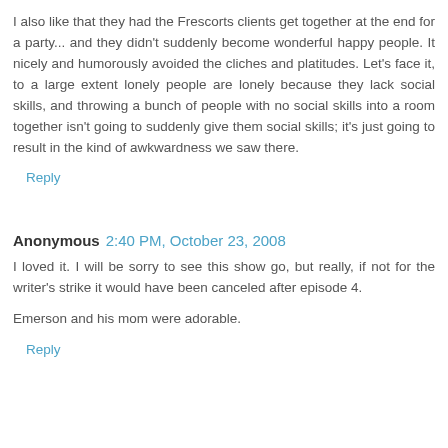I also like that they had the Frescorts clients get together at the end for a party... and they didn't suddenly become wonderful happy people. It nicely and humorously avoided the cliches and platitudes. Let's face it, to a large extent lonely people are lonely because they lack social skills, and throwing a bunch of people with no social skills into a room together isn't going to suddenly give them social skills; it's just going to result in the kind of awkwardness we saw there.
Reply
Anonymous  2:40 PM, October 23, 2008
I loved it. I will be sorry to see this show go, but really, if not for the writer's strike it would have been canceled after episode 4.
Emerson and his mom were adorable.
Reply